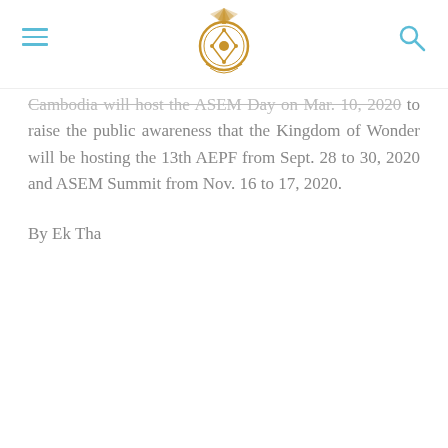[Navigation header with logo, hamburger menu, and search icon]
Cambodia will host the ASEM Day on Mar. 10, 2020 to raise the public awareness that the Kingdom of Wonder will be hosting the 13th AEPF from Sept. 28 to 30, 2020 and ASEM Summit from Nov. 16 to 17, 2020.
By Ek Tha